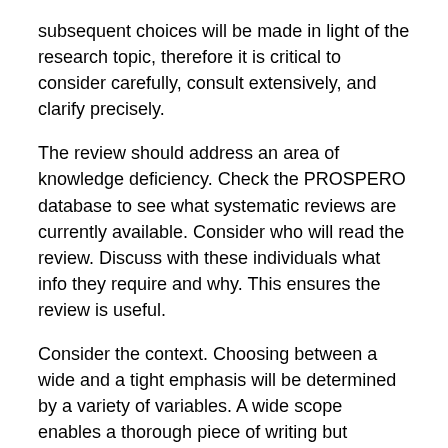subsequent choices will be made in light of the research topic, therefore it is critical to consider carefully, consult extensively, and clarify precisely.
The review should address an area of knowledge deficiency. Check the PROSPERO database to see what systematic reviews are currently available. Consider who will read the review. Discuss with these individuals what info they require and why. This ensures the review is useful.
Consider the context. Choosing between a wide and a tight emphasis will be determined by a variety of variables. A wide scope enables a thorough piece of writing but necessitates considerable resources. While a limited focus may be more manageable, it runs the danger of obtaining insufficient data to create a meaningful synthesis. If the review is expected to generate a significant quantity of evidence, consider utilizing a platform to organize the study's data, record